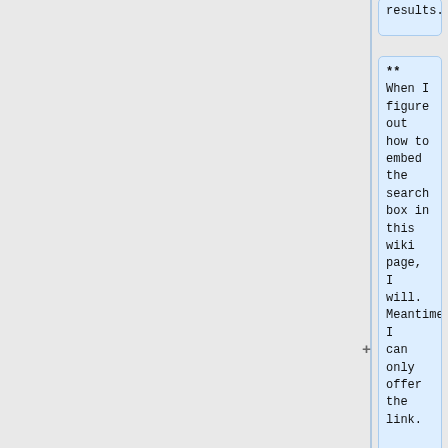results.
** When I figure out how to embed the search box in this wiki page, I will. Meantime I can only offer the link.
-->
== Writings ==
* Also see the [[#Social_media | section on